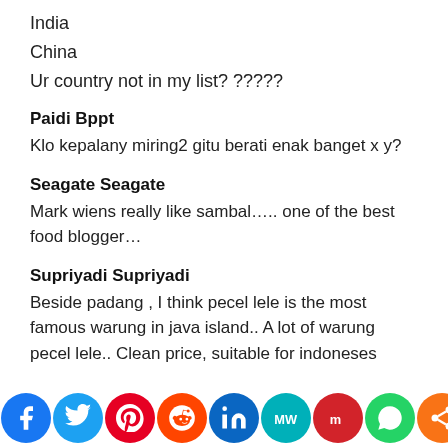India
China
Ur country not in my list? ?????
Paidi Bppt
Klo kepalany miring2 gitu berati enak banget x y?
Seagate Seagate
Mark wiens really like sambal….. one of the best food blogger…
Supriyadi Supriyadi
Beside padang , I think pecel lele is the most famous warung in java island.. A lot of warung pecel lele.. Cheap price, suitable for indonesian people..
[Figure (infographic): Social media share bar with icons: Facebook, Twitter, Pinterest, Reddit, LinkedIn, MeWe, Mix, WhatsApp, Share]